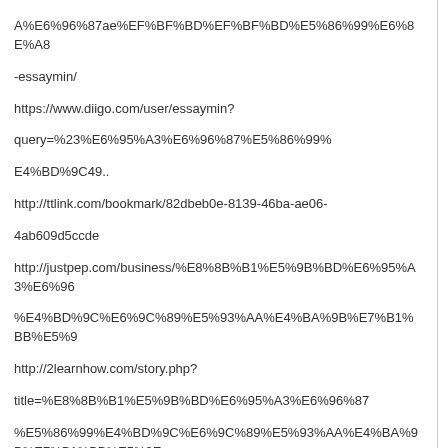A%E6%96%87ae%EF%BF%BD%EF%BF%BD%E5%86%99%E6%8E%A8-essaymin/
https://www.diigo.com/user/essaymin?query=%23%E6%95%A3%E6%96%87%E5%86%99%E4%BD%9C49..
http://ttlink.com/bookmark/82dbeb0e-8139-46ba-ae06-4ab609d5ccde
http://justpep.com/business/%E8%8B%B1%E5%9B%BD%E6%95%A3%E6%96%87%E4%BD%9C%E6%9C%89%E5%93%AA%E4%BA%9B%E7%B1%BB%E5%9E
http://2learnhow.com/story.php?title=%E8%8B%B1%E5%9B%BD%E6%95%A3%E6%96%87%E5%86%99%E4%BD%9C%E6%9C%89%E5%93%AA%E4%BA%9B%E7%B1%BB
http://bookmarksway.com/story.php?title=%E8%8B%B1%E5%9B%BD%E6%95%A3%E6%96%87%E5%86%99%E4%BD%9C%E6%9C%89%E5%93%AA%E4%BA%9B%E7%B1
http://www.socialbookmarkssite.com/bookmark/2339984/-/
http://www.video-bookmark.com/bookmark/3929443/%E8%8B%B1%E5%9B%BD%E6%95%A3%E6%96%87%E5%86%99ae%EF%BF%BD%EF%BF%BD%E6%9C%89%E5%93%AA%E4%BA%9B%E7%B1%BB%E5%9E%8B%EF%BC%9F/3%E6%96%87%E5%86%99ae%EF%BF%BD%EF%BF%BD%E6%9C%89%E5%93%AA%E4%BA%9B%BD%E7%B1%BB%E5%9E%8B%EF%BC%9F/BD%E7%B1%BB%E5%9E%8B%EF%BC%9F/
https://bookmarksmywebs.com/story.php?title=%E8%8B%B1%E5%9B%BD%E6%95%A3%E6%96%87%E5%86%99%E4%BD%9C%E6%9C%89%E5%93%AA%E4%BA%9B%E7%B1%BB%E5%9E%8B%EF%BC%9F/C%9F
https://www.diigo.com/user/essaymin?